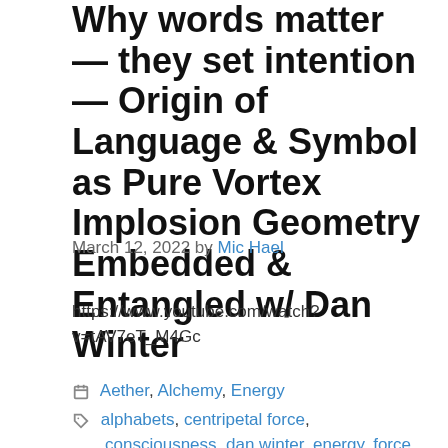Why words matter — they set intention — Origin of Language & Symbol as Pure Vortex Implosion Geometry Embedded & Entangled w/ Dan Winter
March 12, 2022 by Mic Hael
https://www.youtube.com/watch?v=tAV7eT_M4Gc
Categories: Aether, Alchemy, Energy
Tags: alphabets, centripetal force, consciousness, dan winter, energy, force, heart, implosion, language, letters, physics,